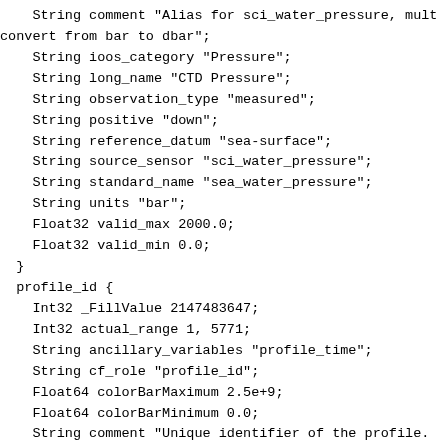String comment "Alias for sci_water_pressure, mult
convert from bar to dbar";
    String ioos_category "Pressure";
    String long_name "CTD Pressure";
    String observation_type "measured";
    String positive "down";
    String reference_datum "sea-surface";
    String source_sensor "sci_water_pressure";
    String standard_name "sea_water_pressure";
    String units "bar";
    Float32 valid_max 2000.0;
    Float32 valid_min 0.0;
  }
  profile_id {
    Int32 _FillValue 2147483647;
    Int32 actual_range 1, 5771;
    String ancillary_variables "profile_time";
    String cf_role "profile_id";
    Float64 colorBarMaximum 2.5e+9;
    Float64 colorBarMinimum 0.0;
    String comment "Unique identifier of the profile.
mean profile timestamp";
    String ioos_category "Identifier";
    String long_name "Profile ID";
    Int32 valid_max 2147483647;